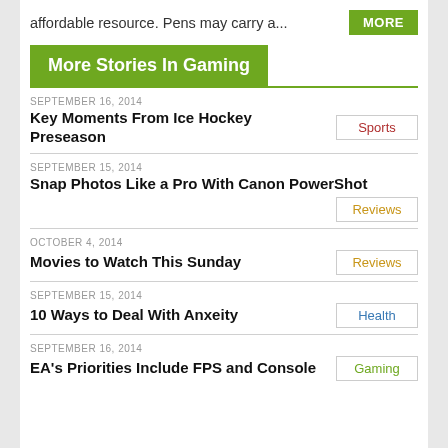affordable resource. Pens may carry a...
MORE
More Stories In Gaming
SEPTEMBER 16, 2014
Key Moments From Ice Hockey Preseason
Sports
SEPTEMBER 15, 2014
Snap Photos Like a Pro With Canon PowerShot
Reviews
OCTOBER 4, 2014
Movies to Watch This Sunday
Reviews
SEPTEMBER 15, 2014
10 Ways to Deal With Anxeity
Health
SEPTEMBER 16, 2014
EA's Priorities Include FPS and Console
Gaming